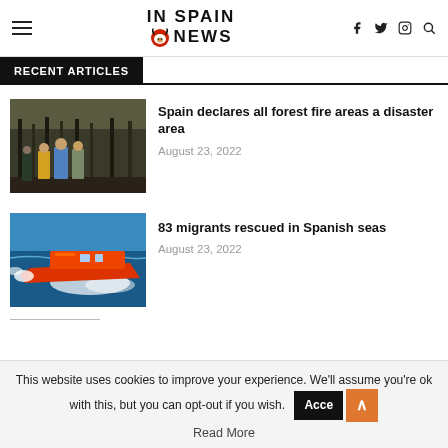IN SPAIN NEWS — navigation header with hamburger menu, logo, social icons (f, twitter, instagram, search)
RECENT ARTICLES
[Figure (photo): Three men standing in a burnt forest area, one in yellow jacket, others in blue and khaki]
Spain declares all forest fire areas a disaster area
August 23, 2022
[Figure (photo): Orange rescue/patrol boat speeding through water with white wake spray]
83 migrants rescued in Spanish seas
August 23, 2022
This website uses cookies to improve your experience. We'll assume you're ok with this, but you can opt-out if you wish.
Read More